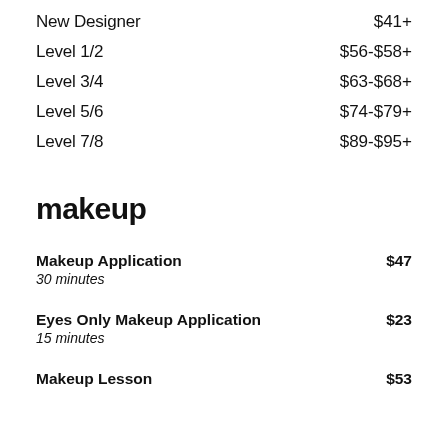New Designer   $41+
Level 1/2   $56-$58+
Level 3/4   $63-$68+
Level 5/6   $74-$79+
Level 7/8   $89-$95+
makeup
Makeup Application   $47
30 minutes
Eyes Only Makeup Application   $23
15 minutes
Makeup Lesson   $53